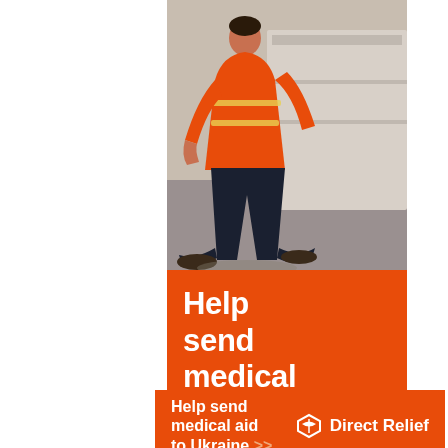[Figure (photo): Worker in orange safety vest crouching near boxes in a warehouse setting]
Help send medical aid to Ukraine >>
[Figure (infographic): Horizontal orange banner ad reading 'Help send medical aid to Ukraine >>' with Direct Relief logo on the right]
[Figure (screenshot): Bottom gray area with close X button indicating ad overlay UI]